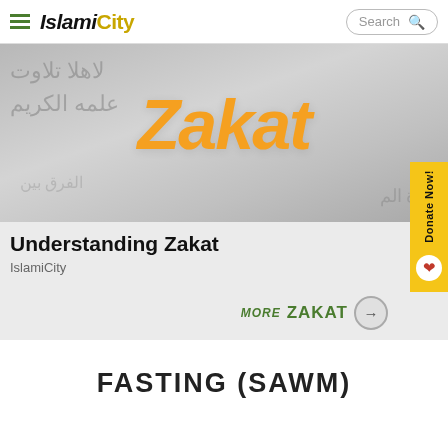IslamiCity — Search bar navigation
[Figure (photo): Zakat article card image: Arabic calligraphy/text in blurred grayscale background with large orange italic 'Zakat' text overlaid in center]
Understanding Zakat
IslamiCity
MORE ZAKAT →
FASTING (SAWM)